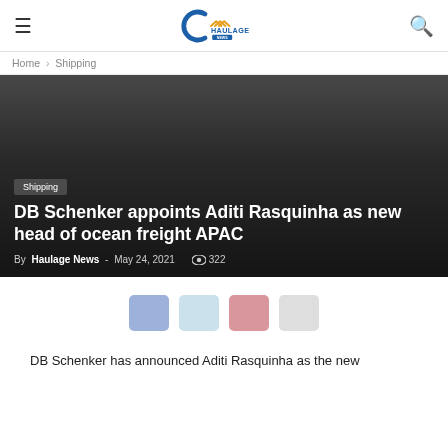Haulage News
Home › Shipping
[Figure (photo): Dark hero banner image for article about DB Schenker appointment]
Shipping
DB Schenker appoints Aditi Rasquinha as new head of ocean freight APAC
By Haulage News - May 24, 2021  322
[Figure (other): Social share buttons: Facebook, Twitter, Pinterest, WhatsApp]
DB Schenker has announced Aditi Rasquinha as the new